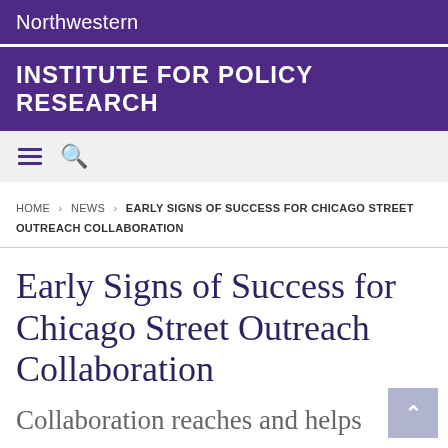Northwestern
INSTITUTE FOR POLICY RESEARCH
HOME > NEWS > EARLY SIGNS OF SUCCESS FOR CHICAGO STREET OUTREACH COLLABORATION
Early Signs of Success for Chicago Street Outreach Collaboration
Collaboration reaches and helps